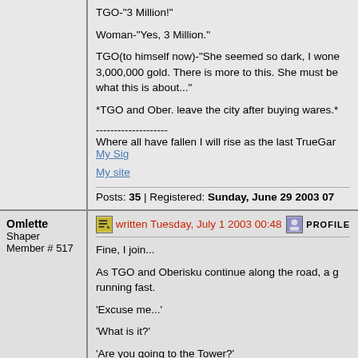TGO-"3 Million!"
Woman-"Yes, 3 Million."
TGO(to himself now)-"She seemed so dark, I wond 3,000,000 gold. There is more to this. She must be what this is about..."
*TGO and Ober. leave the city after buying wares.*
--------------------
Where all have fallen I will rise as the last TrueGar
My Sig
My site
Posts: 35 | Registered: Sunday, June 29 2003 07
Omlette
Shaper
Member # 517
written Tuesday, July 1 2003 00:48
Fine, I join...
As TGO and Oberisku continue along the road, a g running fast.
'Excuse me...'
'What is it?'
'Are you going to the Tower?'
'What is it to you?'